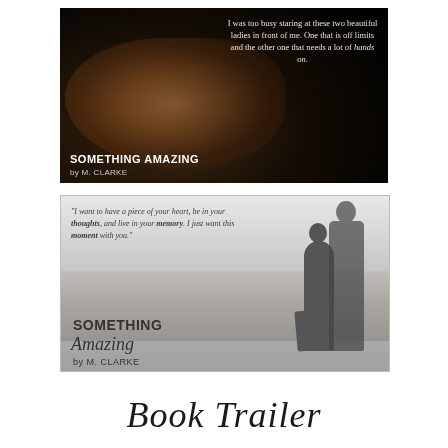[Figure (illustration): Dark dramatic image of a couple, with a quote overlay: 'I was too busy staring at these two beautiful ladies in front of me. One that is off limits and the other one that needs a lot of hands on.' Book title 'SOMETHING AMAZING by M. CLARKE' at bottom left.]
[Figure (illustration): Black and white beach photo of a couple standing by the ocean, with italic quote: '"I want to have a piece of your heart, be in your thoughts, and live in your memory. I just want this moment with you."' Book title 'SOMETHING Amazing by M. CLARKE' overlaid.]
Book Trailer